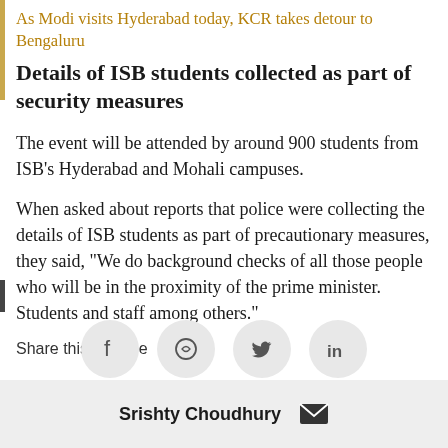As Modi visits Hyderabad today, KCR takes detour to Bengaluru
Details of ISB students collected as part of security measures
The event will be attended by around 900 students from ISB’s Hyderabad and Mohali campuses.
When asked about reports that police were collecting the details of ISB students as part of precautionary measures, they said, "We do background checks of all those people who will be in the proximity of the prime minister. Students and staff among others."
Share this timeline
[Figure (infographic): Social share buttons: Facebook, WhatsApp, Twitter, LinkedIn]
Srishty Choudhury